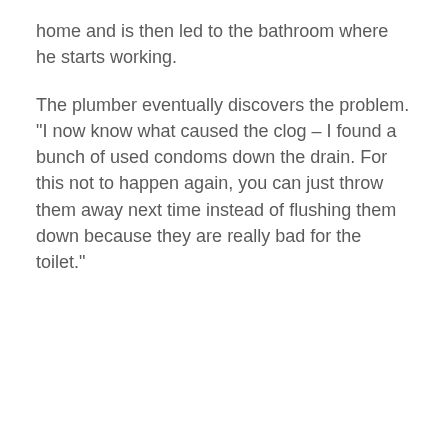home and is then led to the bathroom where he starts working.
The plumber eventually discovers the problem. "I now know what caused the clog – I found a bunch of used condoms down the drain. For this not to happen again, you can just throw them away next time instead of flushing them down because they are really bad for the toilet."